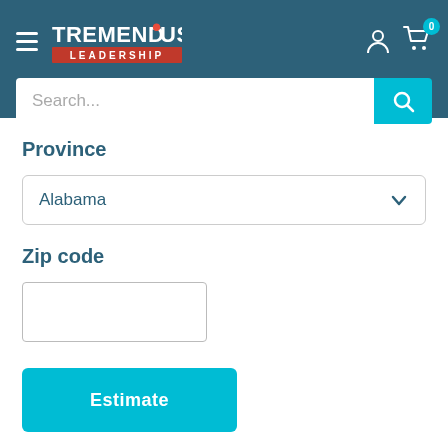[Figure (logo): Tremendous Leadership logo with hamburger menu, user icon, and cart icon with badge showing 0]
[Figure (screenshot): Search input bar with placeholder text 'Search...' and teal search button]
Province
[Figure (screenshot): Dropdown select box showing 'Alabama' with chevron arrow]
Zip code
[Figure (screenshot): Empty text input box for zip code]
[Figure (screenshot): Teal 'Estimate' button]
Preferred Delivery